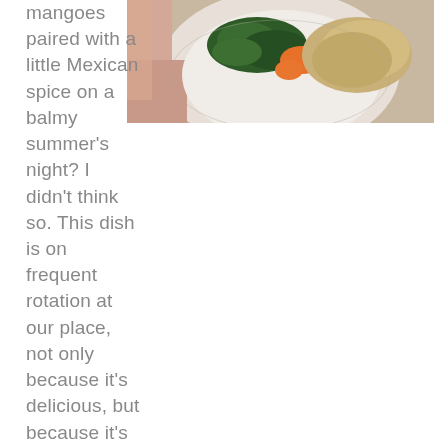[Figure (photo): A food photo taken from above showing a white plate with colorful food — orange carrots or peppers, dark green leafy greens, and light brown textured food (possibly chicken or grain). A person's hand or arm is visible at the left edge.]
mangoes paired with a little Mexican spice on a balmy summer's night? I didn't think so. This dish is on frequent rotation at our place, not only because it's delicious, but because it's fresh